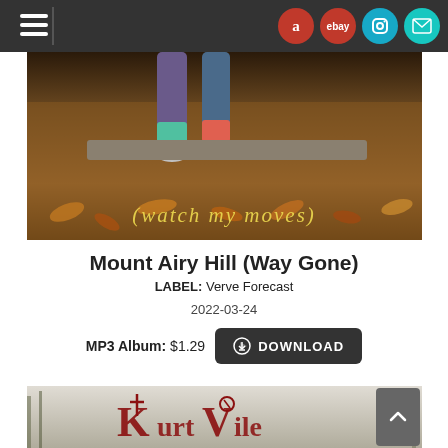Navigation bar with hamburger menu and icons: Amazon, eBay, Instagram, Mail
[Figure (photo): Album cover photo showing two people sitting on a ledge with colorful socks, surrounded by autumn leaves, with cursive yellow text reading '(watch my moves)']
Mount Airy Hill (Way Gone)
LABEL: Verve Forecast
2022-03-24
MP3 Album: $1.29  DOWNLOAD
[Figure (photo): Partial album cover showing Kurt Vile text in red graffiti style on a outdoor/nature background]